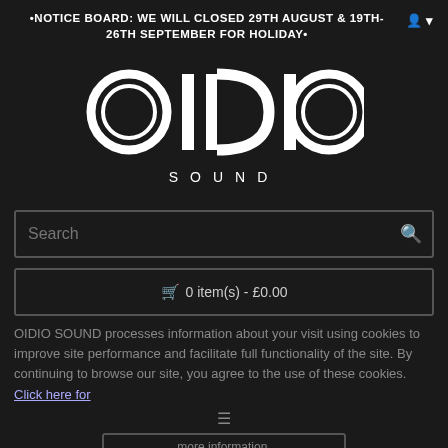•NOTICE BOARD: WE WILL CLOSED 29TH AUGUST & 19TH-26TH SEPTEMBER FOR HOLIDAY•
[Figure (logo): OIDIO SOUND logo — large circular letter forms spelling OIDIO above the word SOUND in spaced capitals, white on dark background]
Search
🛒 0 item(s) - £0.00
OIDIO SOUND processes information about your visit using cookies to improve site performance and facilitate full functionality of the site. By continuing to browse our site, you agree to the use of these cookies. Click here for more information.
OIDIO MONGREL CABLE FOR SENNHEISER HD800 & HD800S HEADPHONES